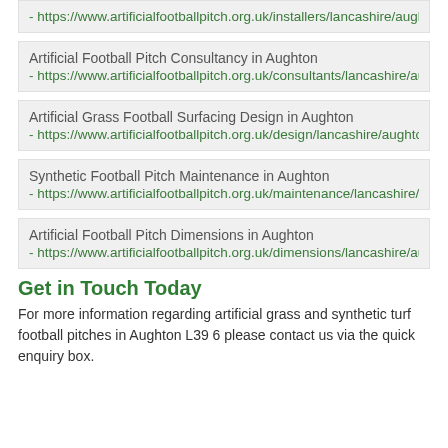- https://www.artificialfootballpitch.org.uk/installers/lancashire/aughto
Artificial Football Pitch Consultancy in Aughton
- https://www.artificialfootballpitch.org.uk/consultants/lancashire/aughton/
Artificial Grass Football Surfacing Design in Aughton
- https://www.artificialfootballpitch.org.uk/design/lancashire/aughton/
Synthetic Football Pitch Maintenance in Aughton
- https://www.artificialfootballpitch.org.uk/maintenance/lancashire/aughton/
Artificial Football Pitch Dimensions in Aughton
- https://www.artificialfootballpitch.org.uk/dimensions/lancashire/aughton/
Get in Touch Today
For more information regarding artificial grass and synthetic turf football pitches in Aughton L39 6 please contact us via the quick enquiry box.